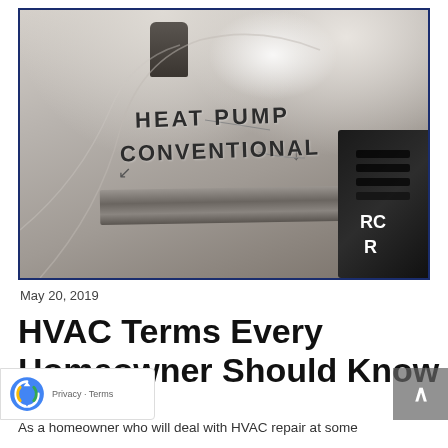[Figure (photo): Close-up photo of an HVAC thermostat control board showing 'HEAT PUMP' and 'CONVENTIONAL' labels with arrows, and a dark electrical component on the right side labeled 'RC' and 'R'.]
May 20, 2019
HVAC Terms Every Homeowner Should Know
As a homeowner who will deal with HVAC repair at some